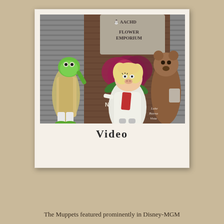[Figure (photo): Polaroid-style photo of Muppet characters (Kermit the Frog, Miss Piggy, and a bear character) standing in front of a Flower Emporium backdrop with painted roses, with text 'OUR PRICE NOTHING TO S...' and 'Lake Buena Vista' watermark in bottom right corner.]
Video
The Muppets featured prominently in Disney-MGM